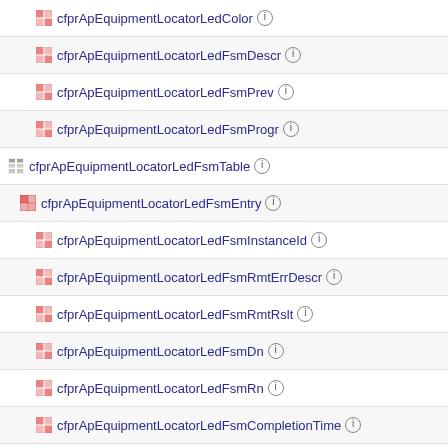cfprApEquipmentLocatorLedColor
cfprApEquipmentLocatorLedFsmDescr
cfprApEquipmentLocatorLedFsmPrev
cfprApEquipmentLocatorLedFsmProgr
cfprApEquipmentLocatorLedFsmTable
cfprApEquipmentLocatorLedFsmEntry
cfprApEquipmentLocatorLedFsmInstanceId
cfprApEquipmentLocatorLedFsmRmtErrDescr
cfprApEquipmentLocatorLedFsmRmtRslt
cfprApEquipmentLocatorLedFsmDn
cfprApEquipmentLocatorLedFsmRn
cfprApEquipmentLocatorLedFsmCompletionTime
cfprApEquipmentLocatorLedFsmCurrentFsm
cfprApEquipmentLocatorLedFsmDescrData
cfprApEquipmentLocatorLedFsmFsmStatus
cfprApEquipmentLocatorLedFsmProgress